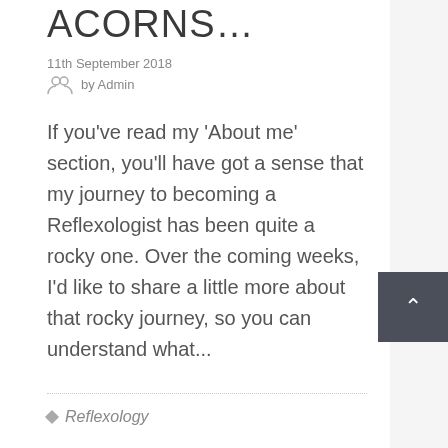ACORNS…
11th September 2018
by Admin
If you've read my 'About me' section, you'll have got a sense that my journey to becoming a Reflexologist has been quite a rocky one. Over the coming weeks, I'd like to share a little more about that rocky journey, so you can understand what...
Reflexology